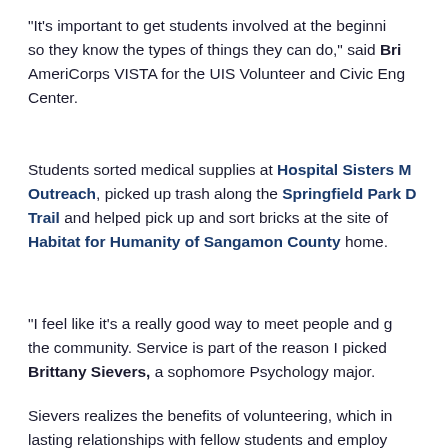“It’s important to get students involved at the beginning so they know the types of things they can do,” said Bri AmeriCorps VISTA for the UIS Volunteer and Civic Eng Center.
Students sorted medical supplies at Hospital Sisters M Outreach, picked up trash along the Springfield Park D Trail and helped pick up and sort bricks at the site of Habitat for Humanity of Sangamon County home.
“I feel like it’s a really good way to meet people and g the community. Service is part of the reason I picked Brittany Sievers, a sophomore Psychology major.
Sievers realizes the benefits of volunteering, which in lasting relationships with fellow students and employ